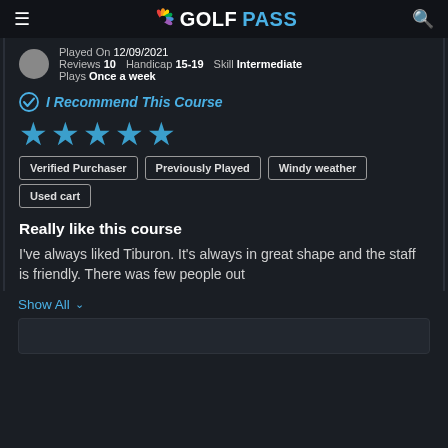GOLFPASS
Played On 12/09/2021  Reviews 10  Handicap 15-19  Skill Intermediate  Plays Once a week
I Recommend This Course
[Figure (other): 5 blue star rating]
Verified Purchaser
Previously Played
Windy weather
Used cart
Really like this course
I've always liked Tiburon. It's always in great shape and the staff is friendly. There was few people out
Show All